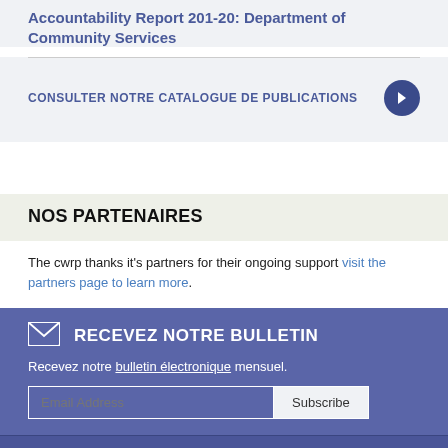Accountability Report 201-20: Department of Community Services
CONSULTER NOTRE CATALOGUE DE PUBLICATIONS
NOS PARTENAIRES
The cwrp thanks it's partners for their ongoing support visit the partners page to learn more.
RECEVEZ NOTRE BULLETIN
Recevez notre bulletin électronique mensuel.
Email Address  Subscribe
Contactez-nous   Website Feedback   CONDITIONS D'UTILISATION